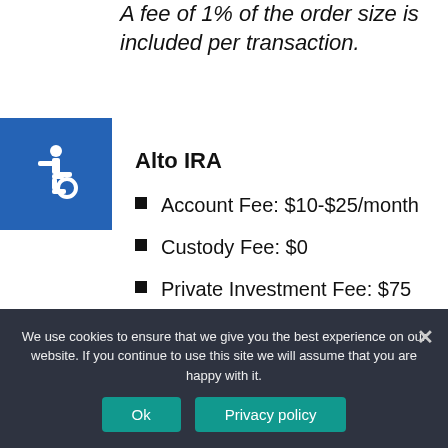A fee of 1% of the order size is included per transaction.
[Figure (illustration): Accessibility icon (wheelchair symbol) on blue background]
Alto IRA
Account Fee: $10-$25/month
Custody Fee: $0
Private Investment Fee: $75
Account Closure: $50
Wire Transfer: $25
We use cookies to ensure that we give you the best experience on our website. If you continue to use this site we will assume that you are happy with it.